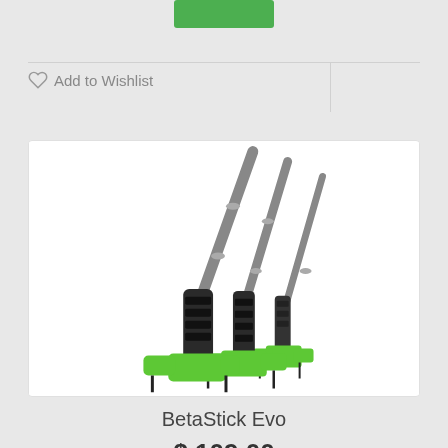Add to Wishlist
[Figure (photo): Three BetaStick Evo climbing route-setting tools with green plastic bases and long black telescoping poles, displayed side by side against a white background]
BetaStick Evo
$ 109.00